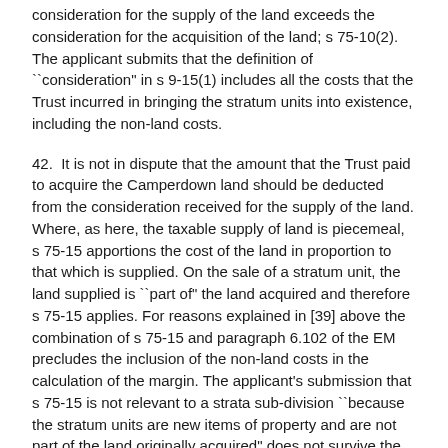consideration for the supply of the land exceeds the consideration for the acquisition of the land; s 75-10(2). The applicant submits that the definition of ``consideration" in s 9-15(1) includes all the costs that the Trust incurred in bringing the stratum units into existence, including the non-land costs.
42.  It is not in dispute that the amount that the Trust paid to acquire the Camperdown land should be deducted from the consideration received for the supply of the land. Where, as here, the taxable supply of land is piecemeal, s 75-15 apportions the cost of the land in proportion to that which is supplied. On the sale of a stratum unit, the land supplied is ``part of" the land acquired and therefore s 75-15 applies. For reasons explained in [39] above the combination of s 75-15 and paragraph 6.102 of the EM precludes the inclusion of the non-land costs in the calculation of the margin. The applicant's submission that s 75-15 is not relevant to a strata sub-division ``because the stratum units are new items of property and are not part of the land originally acquired" does not survive the rejection of the identity submission above.